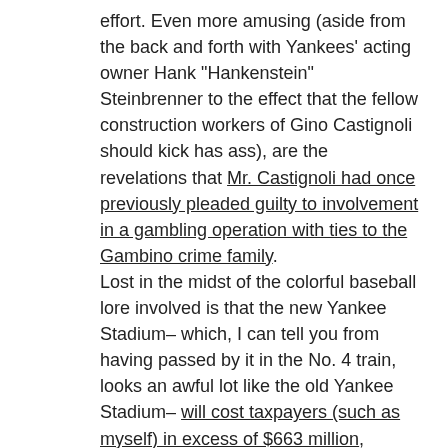effort. Even more amusing (aside from the back and forth with Yankees' acting owner Hank "Hankenstein" Steinbrenner to the effect that the fellow construction workers of Gino Castignoli should kick has ass), are the revelations that Mr. Castignoli had once previously pleaded guilty to involvement in a gambling operation with ties to the Gambino crime family. Lost in the midst of the colorful baseball lore involved is that the new Yankee Stadium– which, I can tell you from having passed by it in the No. 4 train, looks an awful lot like the old Yankee Stadium– will cost taxpayers (such as myself) in excess of $663 million, thanks to sweetheart deals put in place by our last two (Republican) mayors, all so the Steinbrenners can make lots more money from luxury box revenue. All this comes at a time when the local tax coffers will be suffering as it is from the hit on Wall Street and the economy. But then, if we didn't have our bread and circuses (and